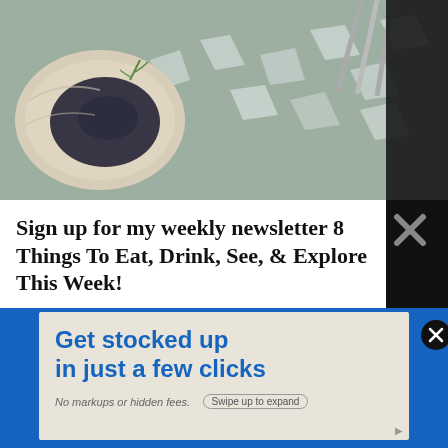[Figure (photo): Overhead photo of a fresh oyster on the half shell surrounded by ice, with a sprig of herb, on a metal tray. Silverware/tongs visible in upper right.]
Sign up for my weekly newsletter 8 Things To Eat, Drink, See, & Explore This Week!
YOUR EMAIL ADDRESS
SUBSCRIBE
[Figure (infographic): Advertisement banner reading 'Get stocked up in just a few clicks. No markups or hidden fees.' with a Swipe up to expand pill button.]